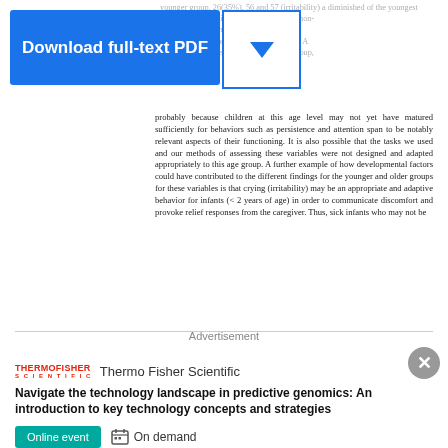[Figure (screenshot): Download full-text PDF button (blue) with dropdown arrow button beside it]
ciently for behaviors such as persistence and attention span to be notably relevant aspects of their functioning. It is also possible that the tasks we used and our methods of assessing these variables were not designed and adapted appropriately to this age group. A further example of how developmental factors could have contributed to the different findings for the younger and older groups for these variables is that crying (irritability) may be an appropriate and adaptive behavior for infants (< 2 years of age) in order to communicate discomfort and provoke relief responses from the caregiver. Thus, sick infants who may not be
Advertisement
[Figure (logo): ThermoFisher Scientific logo in red]
Thermo Fisher Scientific
Navigate the technology landscape in predictive genomics: An introduction to key technology concepts and strategies
Online event  On demand